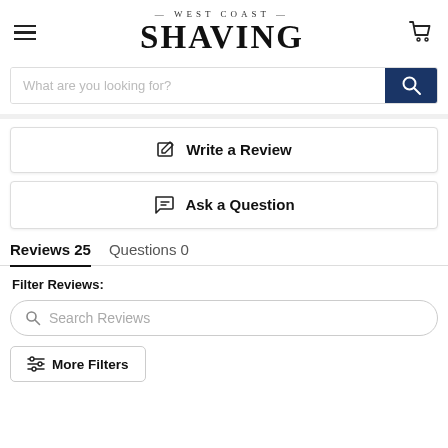[Figure (logo): West Coast Shaving logo with hamburger menu icon on left and cart icon on right]
What are you looking for?
Write a Review
Ask a Question
Reviews 25    Questions 0
Filter Reviews:
Search Reviews
More Filters